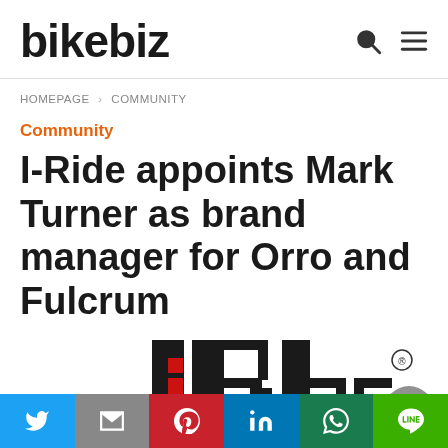bikebiz
HOMEPAGE > COMMUNITY
Community
I-Ride appoints Mark Turner as brand manager for Orro and Fulcrum
[Figure (logo): I-Ride brand logo partially visible at the bottom of the page]
Social sharing bar: Twitter, Gmail, Pinterest, LinkedIn, WhatsApp, Line